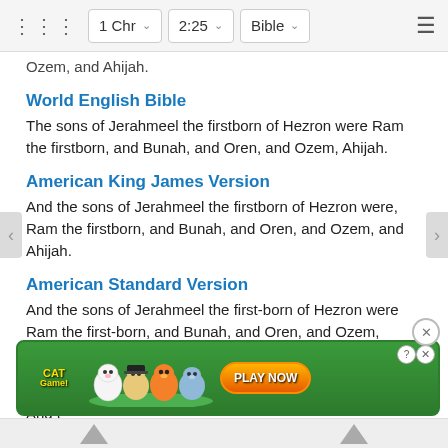1 Chr  2:25  Bible
Ozem, and Ahijah.
World English Bible
The sons of Jerahmeel the firstborn of Hezron were Ram the firstborn, and Bunah, and Oren, and Ozem, Ahijah.
American King James Version
And the sons of Jerahmeel the firstborn of Hezron were, Ram the firstborn, and Bunah, and Oren, and Ozem, and Ahijah.
American Standard Version
And the sons of Jerahmeel the first-born of Hezron were Ram the first-born, and Bunah, and Oren, and Ozem, Ahijah.
A Fai
And t on: Ram